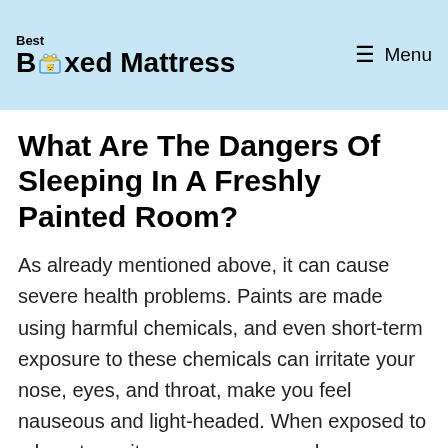Best Boxed Mattress — Menu
What Are The Dangers Of Sleeping In A Freshly Painted Room?
As already mentioned above, it can cause severe health problems. Paints are made using harmful chemicals, and even short-term exposure to these chemicals can irritate your nose, eyes, and throat, make you feel nauseous and light-headed. When exposed to a long-term, it can cause severe damage internally. It can affect the liver, kidney, and central nervous system. At worst, it